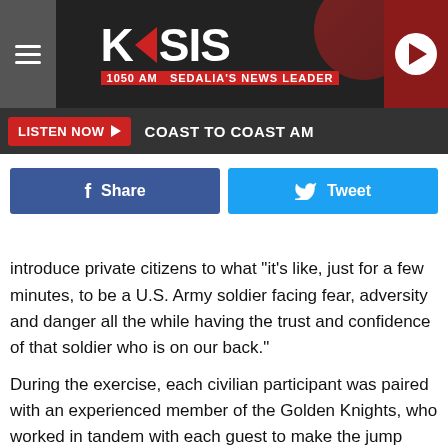[Figure (logo): KSIS 1050 AM Sedalia's News Leader radio station logo on dark header bar with hamburger menu and play button]
LISTEN NOW ▶  COAST TO COAST AM
[Figure (infographic): Social sharing buttons: Facebook Share (blue) and Tweet (light blue)]
introduce private citizens to what "it's like, just for a few minutes, to be a U.S. Army soldier facing fear, adversity and danger all the while having the trust and confidence of that soldier who is on our back."
During the exercise, each civilian participant was paired with an experienced member of the Golden Knights, who worked in tandem with each guest to make the jump from an altitude of approximately 12,500 feet.
Before taking off in a twin-engine Army airplane flown by one of the team members, all of the participants completed a